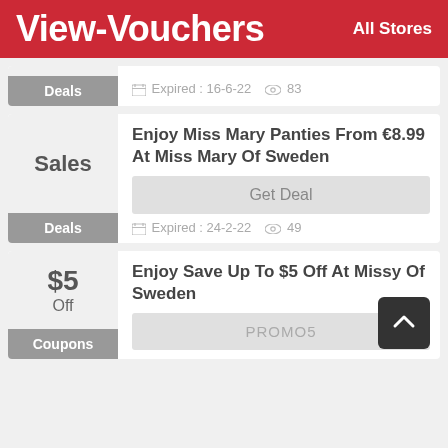View-Vouchers   All Stores
Deals   Expired : 16-6-22   83
Enjoy Miss Mary Panties From €8.99 At Miss Mary Of Sweden
Sales
Deals   Get Deal   Expired : 24-2-22   49
Enjoy Save Up To $5 Off At Missy Of Sweden
$5 Off
Coupons   PROMO5